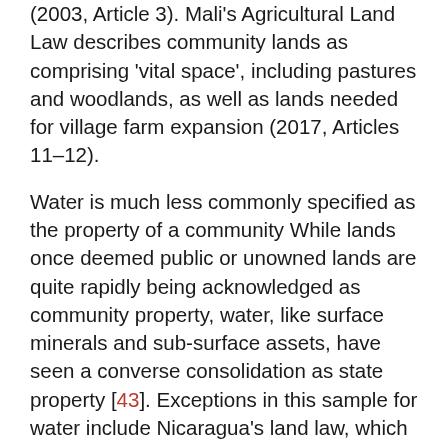(2003, Article 3). Mali's Agricultural Land Law describes community lands as comprising 'vital space', including pastures and woodlands, as well as lands needed for village farm expansion (2017, Articles 11–12).
Water is much less commonly specified as the property of a community While lands once deemed public or unowned lands are quite rapidly being acknowledged as community property, water, like surface minerals and sub-surface assets, have seen a converse consolidation as state property [43]. Exceptions in this sample for water include Nicaragua's land law, which defines community property as 'constituted by the lands, waters, forests, and other natural resources contained therein which have traditionally belonged the community' (Article 2 of Law 455); Romania's Water Law, 1996, recognizing collectives as owners of lakes and rivers on their lands that are less than 5 km long (Water Law, 1996); and South